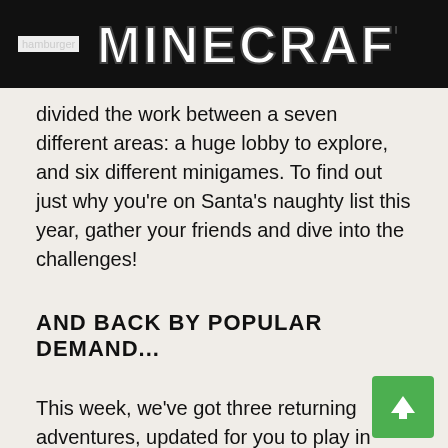hamburger MINECRAFT
divided the work between a seven different areas: a huge lobby to explore, and six different minigames. To find out just why you're on Santa's naughty list this year, gather your friends and dive into the challenges!
AND BACK BY POPULAR DEMAND...
This week, we've got three returning adventures, updated for you to play in Minecraft 1.11:
Captive Minecraft IV: Winter Realm
Terra Swoon Force